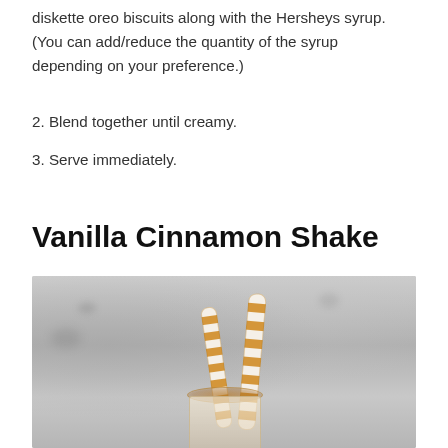diskette oreo biscuits along with the Hersheys syrup. (You can add/reduce the quantity of the syrup depending on your preference.)
2. Blend together until creamy.
3. Serve immediately.
Vanilla Cinnamon Shake
[Figure (photo): A glass with two orange and white striped paper straws, containing a milkshake with a golden-brown cinnamon rim, set against a gray background.]